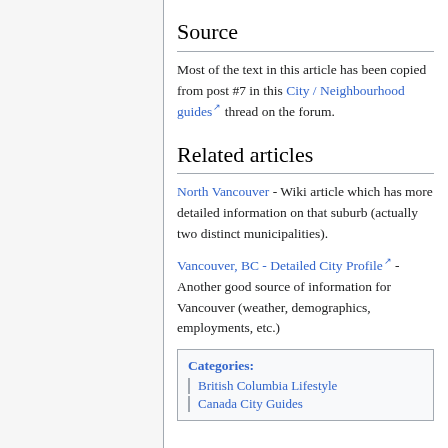Source
Most of the text in this article has been copied from post #7 in this City / Neighbourhood guides thread on the forum.
Related articles
North Vancouver - Wiki article which has more detailed information on that suburb (actually two distinct municipalities).
Vancouver, BC - Detailed City Profile - Another good source of information for Vancouver (weather, demographics, employments, etc.)
Categories: British Columbia Lifestyle | Canada City Guides